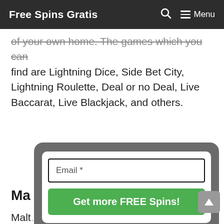Free Spins Gratis  🔍  ☰ Menu
of your own home. The games which you can find are Lightning Dice, Side Bet City, Lightning Roulette, Deal or no Deal, Live Baccarat, Live Blackjack, and others.
[Figure (screenshot): Email subscription popup with a dark gray rounded rectangle container, white inner box, an email input field labeled 'Email *', and a green 'Get more FREE Spins!' button]
Ma...
Malt...